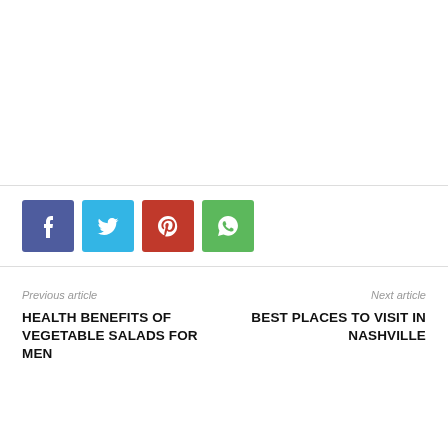[Figure (infographic): Four social media share buttons: Facebook (blue), Twitter (light blue), Pinterest (red), WhatsApp (green)]
Previous article
HEALTH BENEFITS OF VEGETABLE SALADS FOR MEN
Next article
BEST PLACES TO VISIT IN NASHVILLE